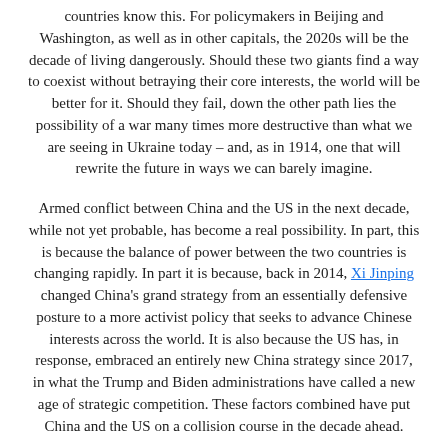countries know this. For policymakers in Beijing and Washington, as well as in other capitals, the 2020s will be the decade of living dangerously. Should these two giants find a way to coexist without betraying their core interests, the world will be better for it. Should they fail, down the other path lies the possibility of a war many times more destructive than what we are seeing in Ukraine today – and, as in 1914, one that will rewrite the future in ways we can barely imagine.
Armed conflict between China and the US in the next decade, while not yet probable, has become a real possibility. In part, this is because the balance of power between the two countries is changing rapidly. In part it is because, back in 2014, Xi Jinping changed China's grand strategy from an essentially defensive posture to a more activist policy that seeks to advance Chinese interests across the world. It is also because the US has, in response, embraced an entirely new China strategy since 2017, in what the Trump and Biden administrations have called a new age of strategic competition. These factors combined have put China and the US on a collision course in the decade ahead.